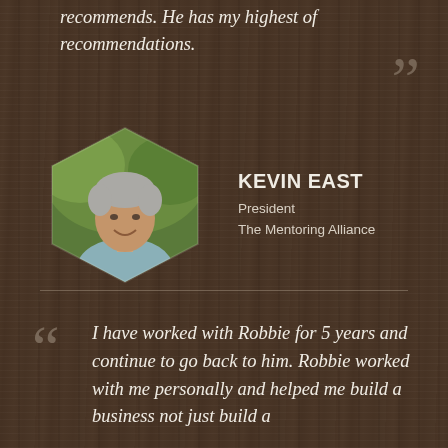recommends. He has my highest of recommendations.
[Figure (photo): Hexagonal portrait photo of Kevin East, a middle-aged man with gray hair, smiling, wearing a light blue shirt, photographed outdoors with green foliage background.]
KEVIN EAST
President
The Mentoring Alliance
I have worked with Robbie for 5 years and continue to go back to him. Robbie worked with me personally and helped me build a business not just build a